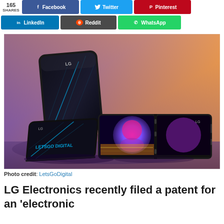165 SHARES | Facebook | Twitter | Pinterest | LinkedIn | Reddit | WhatsApp
[Figure (photo): Render of LG foldable smartphone concept showing multiple configurations: folded vertically, flat open with colorful display, and unfolded landscape view. Background is gradient orange-purple. LetsGoDigital watermark visible.]
Photo credit: LetsGoDigital
LG Electronics recently filed a patent for an 'electronic